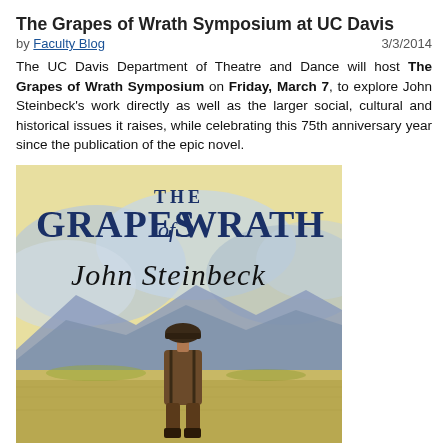The Grapes of Wrath Symposium at UC Davis
by Faculty Blog  3/3/2014
The UC Davis Department of Theatre and Dance will host The Grapes of Wrath Symposium on Friday, March 7, to explore John Steinbeck's work directly as well as the larger social, cultural and historical issues it raises, while celebrating this 75th anniversary year since the publication of the epic novel.
[Figure (illustration): Book cover of The Grapes of Wrath by John Steinbeck, showing the title text in large blue serif letters, the author's name in cursive script, and a painted illustration of a man in a hat and suspenders viewed from behind, standing in a dusty landscape with blue mountains in the background.]